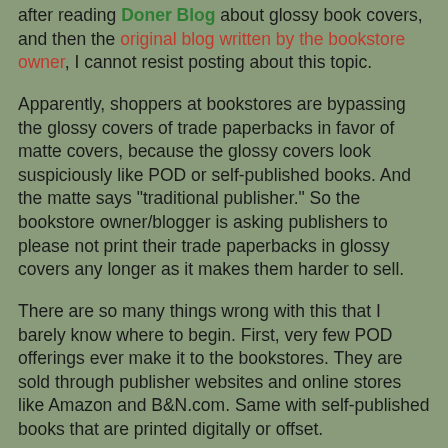after reading Doner Blog about glossy book covers, and then the original blog written by the bookstore owner, I cannot resist posting about this topic.
Apparently, shoppers at bookstores are bypassing the glossy covers of trade paperbacks in favor of matte covers, because the glossy covers look suspiciously like POD or self-published books. And the matte says "traditional publisher." So the bookstore owner/blogger is asking publishers to please not print their trade paperbacks in glossy covers any longer as it makes them harder to sell.
There are so many things wrong with this that I barely know where to begin. First, very few POD offerings ever make it to the bookstores. They are sold through publisher websites and online stores like Amazon and B&N.com. Same with self-published books that are printed digitally or offset.
So why all of a sudden are bookstore customers feeling threatened by the possibility of accidentally purchasing what they apparently believe to be an inferior product? Could it be because there are too many inferior books being published overall? The books could be inferior due to any number of